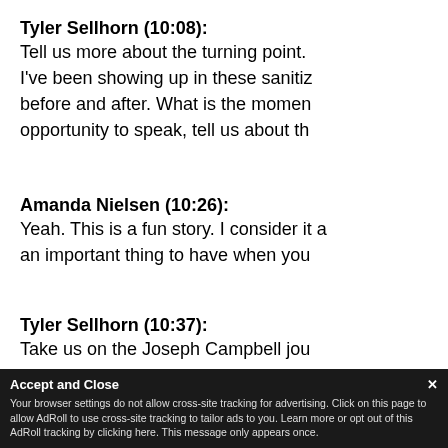Tyler Sellhorn (10:08):
Tell us more about the turning point. I've been showing up in these sanitized before and after. What is the moment opportunity to speak, tell us about th
Amanda Nielsen (10:26):
Yeah. This is a fun story. I consider it a an important thing to have when you
Tyler Sellhorn (10:37):
Take us on the Joseph Campbell jou
Amanda Nielsen (10:41)
college and one day my CEO came t
Your browser settings do not allow cross-site tracking for advertising. Click on this page to allow AdRoll to use cross-site tracking to tailor ads to you. Learn more or opt out of this AdRoll tracking by clicking here. This message only appears once.